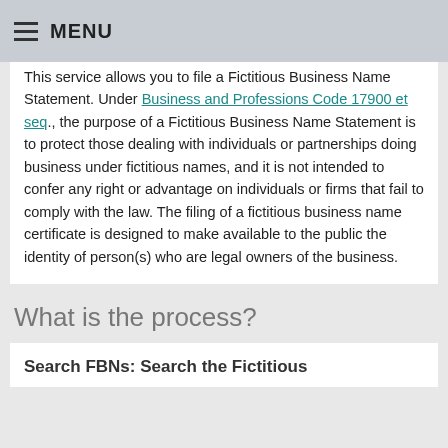MENU
This service allows you to file a Fictitious Business Name Statement. Under Business and Professions Code 17900 et seq., the purpose of a Fictitious Business Name Statement is to protect those dealing with individuals or partnerships doing business under fictitious names, and it is not intended to confer any right or advantage on individuals or firms that fail to comply with the law. The filing of a fictitious business name certificate is designed to make available to the public the identity of person(s) who are legal owners of the business.
What is the process?
Search FBNs: Search the Fictitious